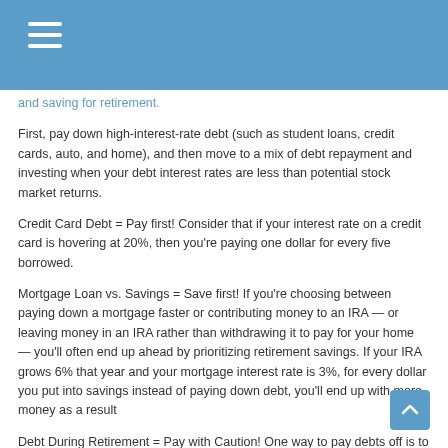and saving for retirement.
First, pay down high-interest-rate debt (such as student loans, credit cards, auto, and home), and then move to a mix of debt repayment and investing when your debt interest rates are less than potential stock market returns.
Credit Card Debt = Pay first! Consider that if your interest rate on a credit card is hovering at 20%, then you're paying one dollar for every five borrowed.
Mortgage Loan vs. Savings = Save first! If you're choosing between paying down a mortgage faster or contributing money to an IRA — or leaving money in an IRA rather than withdrawing it to pay for your home — you'll often end up ahead by prioritizing retirement savings. If your IRA grows 6% that year and your mortgage interest rate is 3%, for every dollar you put into savings instead of paying down debt, you'll end up with more money as a result
Debt During Retirement = Pay with Caution! One way to pay debts off is to use proceeds from retirement plan